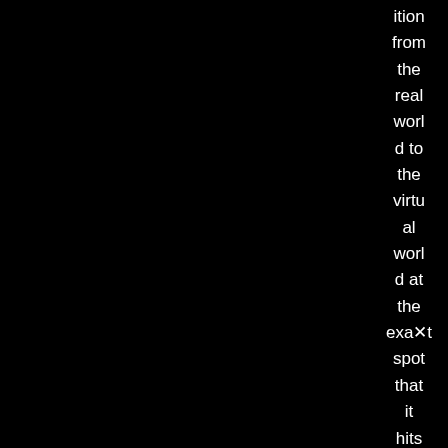ition from the real world to the virtual world at the exact spot that it hits the scree